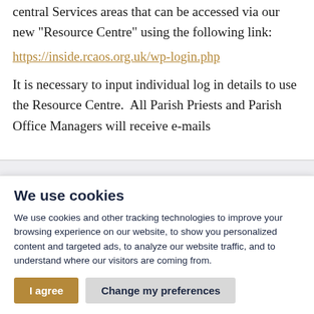central Services areas that can be accessed via our new "Resource Centre" using the following link:
https://inside.rcaos.org.uk/wp-login.php
It is necessary to input individual log in details to use the Resource Centre.  All Parish Priests and Parish Office Managers will receive e-mails
We use cookies
We use cookies and other tracking technologies to improve your browsing experience on our website, to show you personalized content and targeted ads, to analyze our website traffic, and to understand where our visitors are coming from.
I agree   Change my preferences